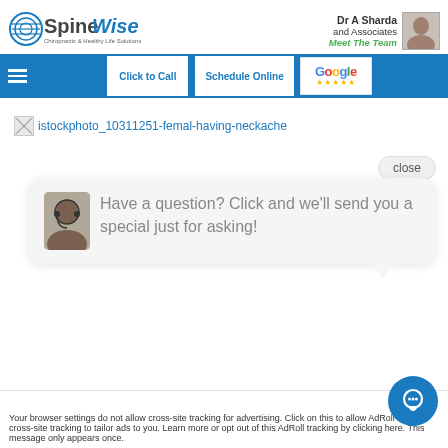[Figure (logo): SpineWise logo with circular icon, 'Spine' in grey bold and 'Wise' in blue italic, tagline below]
Dr A Sharda and Associates
Meet The Team
[Figure (photo): Doctor headshot photo thumbnail]
Tag: neck pain treatments in
[Figure (screenshot): Navigation bar with hamburger menu, Click to Call button, Schedule Online button, Google five-star badge]
[Figure (photo): Broken image placeholder for istockphoto_10311251-femal-having-neckache]
istockphoto_10311251-femal-having-neckache
close
Have a question? Click and we'll send you a special just for asking!
Accept
Your browser settings do not allow cross-site tracking for advertising. Click on this to allow AdRoll to use cross-site tracking to tailor ads to you. Learn more or opt out of this AdRoll tracking by clicking here. This message only appears once.